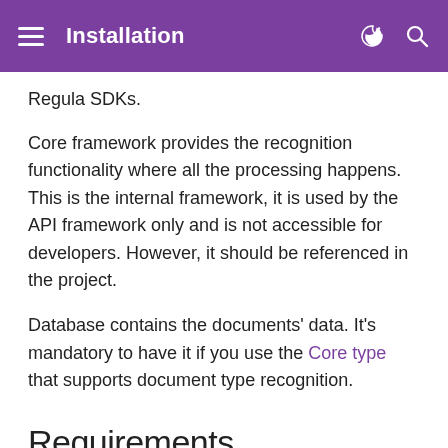Installation
Regula SDKs.
Core framework provides the recognition functionality where all the processing happens. This is the internal framework, it is used by the API framework only and is not accessible for developers. However, it should be referenced in the project.
Database contains the documents' data. It's mandatory to have it if you use the Core type that supports document type recognition.
Requirements
Android Studio
JDK